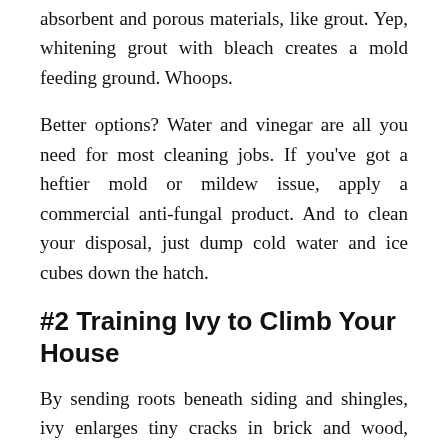absorbent and porous materials, like grout. Yep, whitening grout with bleach creates a mold feeding ground. Whoops.
Better options? Water and vinegar are all you need for most cleaning jobs. If you've got a heftier mold or mildew issue, apply a commercial anti-fungal product. And to clean your disposal, just dump cold water and ice cubes down the hatch.
#2 Training Ivy to Climb Your House
By sending roots beneath siding and shingles, ivy enlarges tiny cracks in brick and wood, introducing entrances for moisture and insects, says Jay Markanich, a certified home inspector based in